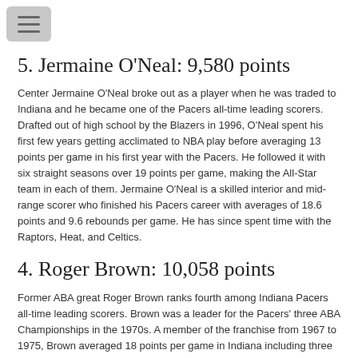5. Jermaine O'Neal: 9,580 points
Center Jermaine O'Neal broke out as a player when he was traded to Indiana and he became one of the Pacers all-time leading scorers. Drafted out of high school by the Blazers in 1996, O'Neal spent his first few years getting acclimated to NBA play before averaging 13 points per game in his first year with the Pacers. He followed it with six straight seasons over 19 points per game, making the All-Star team in each of them. Jermaine O'Neal is a skilled interior and mid-range scorer who finished his Pacers career with averages of 18.6 points and 9.6 rebounds per game. He has since spent time with the Raptors, Heat, and Celtics.
4. Roger Brown: 10,058 points
Former ABA great Roger Brown ranks fourth among Indiana Pacers all-time leading scorers. Brown was a leader for the Pacers' three ABA Championships in the 1970s. A member of the franchise from 1967 to 1975, Brown averaged 18 points per game in Indiana including three